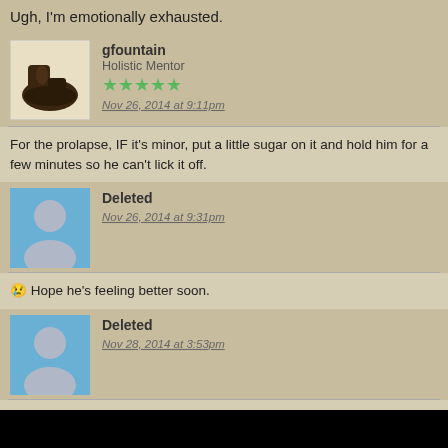Ugh, I'm emotionally exhausted.
[Figure (photo): Avatar image: boots/shoes photo for user gfountain]
gfountain
Holistic Mentor
★★★★★
Nov 26, 2014 at 9:11pm
For the prolapse, IF it's minor, put a little sugar on it and hold him for a few minutes so he can't lick it off.
[Figure (photo): Generic deleted user avatar (silhouette person with blue background)]
Deleted
Nov 26, 2014 at 9:31pm
😢 Hope he's feeling better soon.
[Figure (photo): Generic deleted user avatar (silhouette person with blue background)]
Deleted
Nov 28, 2014 at 3:53pm
Thank you gfountain and @jdomian! Zekrom is doing well! Urinating without stuggling and poops are good WITHOUT a prolapse reoccurring!!!!!! Poor guy though-he has no privacy since I'm all up in his